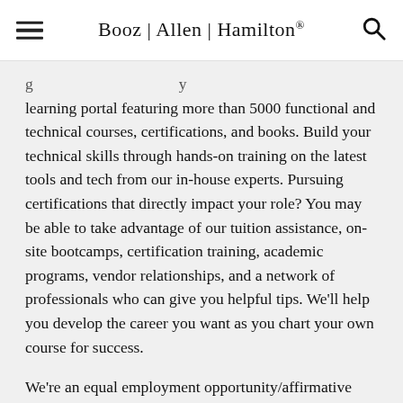Booz | Allen | Hamilton®
learning portal featuring more than 5000 functional and technical courses, certifications, and books. Build your technical skills through hands-on training on the latest tools and tech from our in-house experts. Pursuing certifications that directly impact your role? You may be able to take advantage of our tuition assistance, on-site bootcamps, certification training, academic programs, vendor relationships, and a network of professionals who can give you helpful tips. We'll help you develop the career you want as you chart your own course for success.
We're an equal employment opportunity/affirmative action employer that empowers our people to